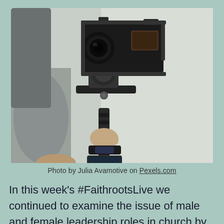[Figure (photo): A person holding a camera on a gimbal stabilizer, viewed from behind/side. The person wears a black wristwatch/wrist accessory. The camera is a professional video camera mounted on a handheld gimbal. Background is light grey/blurred.]
Photo by Julia Avamotive on Pexels.com
In this week's #FaithrootsLive we continued to examine the issue of male and female leadership roles in church by beginning to look